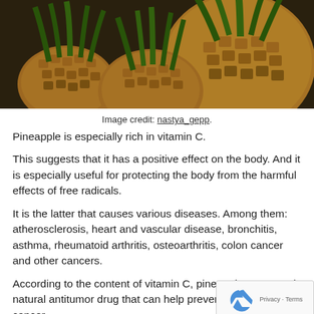[Figure (photo): Close-up photograph of several pineapples with green spiky leaves and golden-brown textured skin, set against a dark natural background.]
Image credit: nastya_gepp.
Pineapple is especially rich in vitamin C.
This suggests that it has a positive effect on the body. And it is especially useful for protecting the body from the harmful effects of free radicals.
It is the latter that causes various diseases. Among them: atherosclerosis, heart and vascular disease, bronchitis, asthma, rheumatoid arthritis, osteoarthritis, colon cancer and other cancers.
According to the content of vitamin C, pineapples are considered a natural antitumor drug that can help prevent and fight cancer